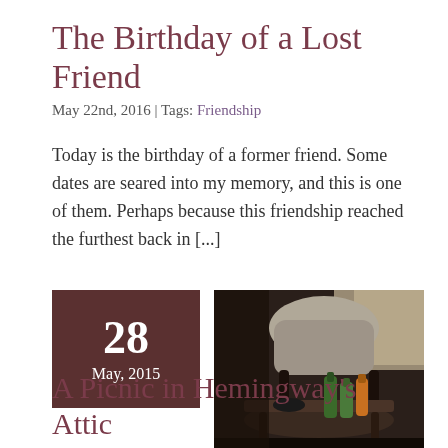The Birthday of a Lost Friend
May 22nd, 2016 | Tags: Friendship
Today is the birthday of a former friend. Some dates are seared into my memory, and this is one of them. Perhaps because this friendship reached the furthest back in [...]
[Figure (photo): Interior photo of a vintage lounge or study with a cushioned chair and a low table with green and amber bottles]
A Picnic in Hemingway's Attic